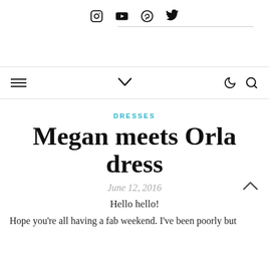Social icons: Instagram, YouTube, Pinterest, Twitter
Navigation bar with hamburger menu, chevron, moon/dark mode, and search icons
DRESSES
Megan meets Orla dress
June 12, 2016
Hello hello!
Hope you're all having a fab weekend. I've been poorly but